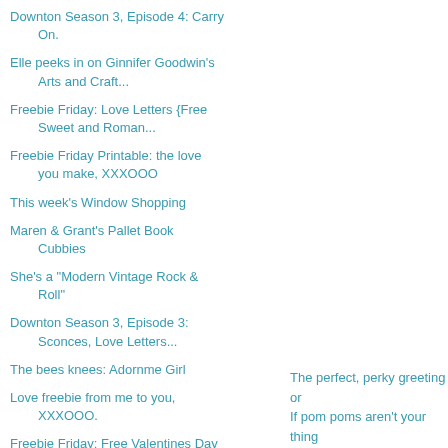Downton Season 3, Episode 4: Carry On.
Elle peeks in on Ginnifer Goodwin's Arts and Craft...
Freebie Friday: Love Letters {Free Sweet and Roman...
Freebie Friday Printable: the love you make, XXXOOO
This week's Window Shopping
Maren & Grant's Pallet Book Cubbies
She's a "Modern Vintage Rock & Roll"
Downton Season 3, Episode 3: Sconces, Love Letters...
The bees knees: Adornme Girl
Love freebie from me to you, XXXOOO.
Freebie Friday: Free Valentines Day cards, games, ...
House Tour: Leah's Lounge
You're fascinating in your DIY fascinator!
The perfect, perky greeting or
If pom poms aren't your thing